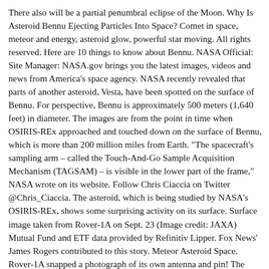There also will be a partial penumbral eclipse of the Moon. Why Is Asteroid Bennu Ejecting Particles Into Space? Comet in space, meteor and energy, asteroid glow, powerful star moving. All rights reserved. Here are 10 things to know about Bennu. NASA Official: Site Manager: NASA.gov brings you the latest images, videos and news from America's space agency. NASA recently revealed that parts of another asteroid, Vesta, have been spotted on the surface of Bennu. For perspective, Bennu is approximately 500 meters (1,640 feet) in diameter. The images are from the point in time when OSIRIS-REx approached and touched down on the surface of Bennu, which is more than 200 million miles from Earth. "The spacecraft's sampling arm – called the Touch-And-Go Sample Acquisition Mechanism (TAGSAM) – is visible in the lower part of the frame," NASA wrote on its website. Follow Chris Ciaccia on Twitter @Chris_Ciaccia. The asteroid, which is being studied by NASA's OSIRIS-REx, shows some surprising activity on its surface. Surface image taken from Rover-1A on Sept. 23 (Image credit: JAXA) Mutual Fund and ETF data provided by Refinitiv Lipper. Fox News' James Rogers contributed to this story. Meteor Asteroid Space. Rover-1A snapped a photograph of its own antenna and pin! The spacecraft will return its asteroid sample to Earth in 2023. The asteroid Apophis was discovered on June 19, 2004. Kristen Erickson The sampling event brought the spacecraft all the way down to sample site Nightingale, and the team on Earth